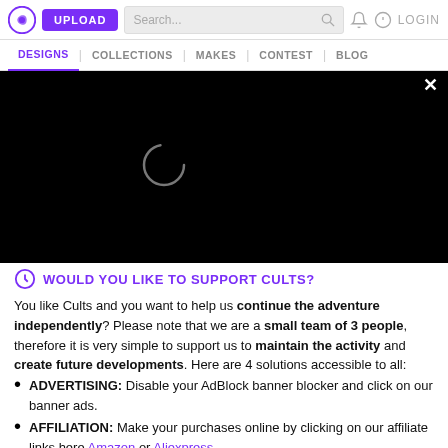UPLOAD | Search... | LOGIN | DESIGNS | COLLECTIONS | MAKES | CONTEST | BLOG
[Figure (screenshot): Black modal overlay with a loading spinner ring in the center and a white X close button in the top-right corner]
WOULD YOU LIKE TO SUPPORT CULTS?
You like Cults and you want to help us continue the adventure independently? Please note that we are a small team of 3 people, therefore it is very simple to support us to maintain the activity and create future developments. Here are 4 solutions accessible to all:
ADVERTISING: Disable your AdBlock banner blocker and click on our banner ads.
AFFILIATION: Make your purchases online by clicking on our affiliate links here Amazon or Aliexpress.